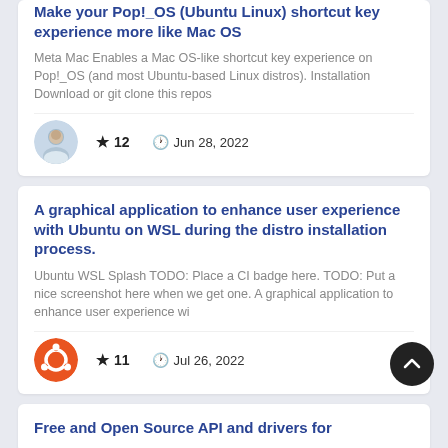Make your Pop!_OS (Ubuntu Linux) shortcut key experience more like Mac OS
Meta Mac Enables a Mac OS-like shortcut key experience on Pop!_OS (and most Ubuntu-based Linux distros). Installation Download or git clone this repos
★ 12  🕐 Jun 28, 2022
A graphical application to enhance user experience with Ubuntu on WSL during the distro installation process.
Ubuntu WSL Splash TODO: Place a CI badge here. TODO: Put a nice screenshot here when we get one. A graphical application to enhance user experience wi
★ 11  🕐 Jul 26, 2022
Free and Open Source API and drivers for